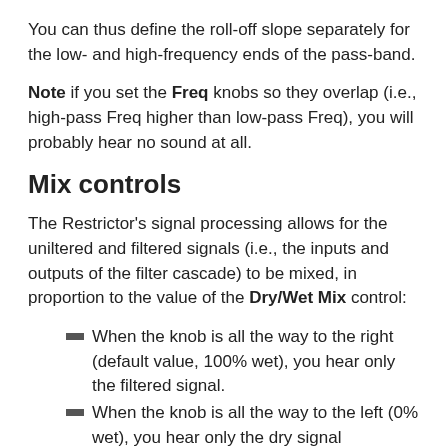You can thus define the roll-off slope separately for the low- and high-frequency ends of the pass-band.
Note if you set the Freq knobs so they overlap (i.e., high-pass Freq higher than low-pass Freq), you will probably hear no sound at all.
Mix controls
The Restrictor’s signal processing allows for the uniltered and filtered signals (i.e., the inputs and outputs of the filter cascade) to be mixed, in proportion to the value of the Dry/Wet Mix control:
When the knob is all the way to the right (default value, 100% wet), you hear only the filtered signal.
When the knob is all the way to the left (0% wet), you hear only the dry signal
Intermediate values allow some of the dry signal through, for less-intense filtering.